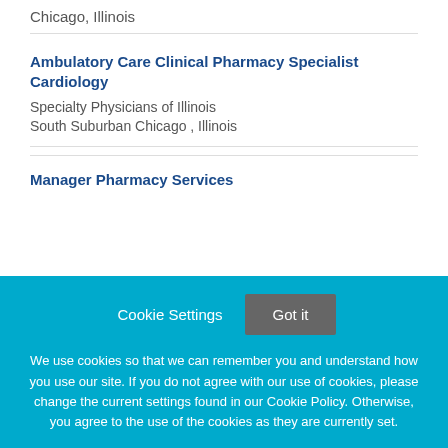Chicago, Illinois
Ambulatory Care Clinical Pharmacy Specialist Cardiology
Specialty Physicians of Illinois
South Suburban Chicago , Illinois
Manager Pharmacy Services
Cookie Settings
Got it
We use cookies so that we can remember you and understand how you use our site. If you do not agree with our use of cookies, please change the current settings found in our Cookie Policy. Otherwise, you agree to the use of the cookies as they are currently set.